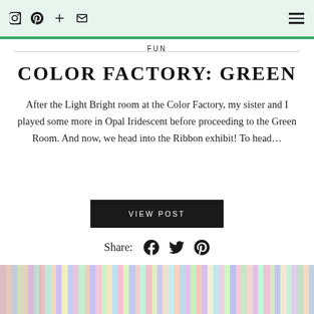Instagram, Pinterest, Plus, Email icons | Hamburger menu
FUN
COLOR FACTORY: GREEN
After the Light Bright room at the Color Factory, my sister and I played some more in Opal Iridescent before proceeding to the Green Room. And now, we head into the Ribbon exhibit! To head...
VIEW POST
Share:
[Figure (photo): Colorful ribbon strips hanging vertically, multicolored — bottom of page]